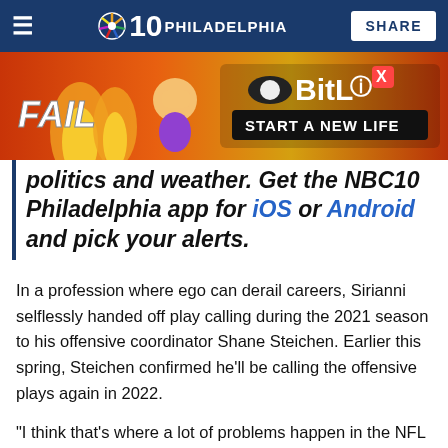NBC10 Philadelphia — SHARE
[Figure (photo): BitLife advertisement banner with 'FAIL' text, animated character, flames, and 'START A NEW LIFE' tagline on orange/red background]
politics and weather. Get the NBC10 Philadelphia app for iOS or Android and pick your alerts.
In a profession where ego can derail careers, Sirianni selflessly handed off play calling during the 2021 season to his offensive coordinator Shane Steichen. Earlier this spring, Steichen confirmed he'll be calling the offensive plays again in 2022.
“I think that’s where a lot of problems happen in the NFL is from an ego standpoint,” Sirianni said last week. “It’s what is